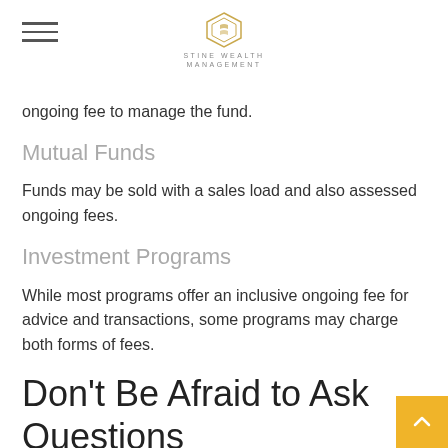STINE WEALTH MANAGEMENT
ongoing fee to manage the fund.
Mutual Funds
Funds may be sold with a sales load and also assessed ongoing fees.
Investment Programs
While most programs offer an inclusive ongoing fee for advice and transactions, some programs may charge both forms of fees.
Don't Be Afraid to Ask Questions
Investors should be aware of what they are paying for a professional's services and advice. Don't hesitate to ask